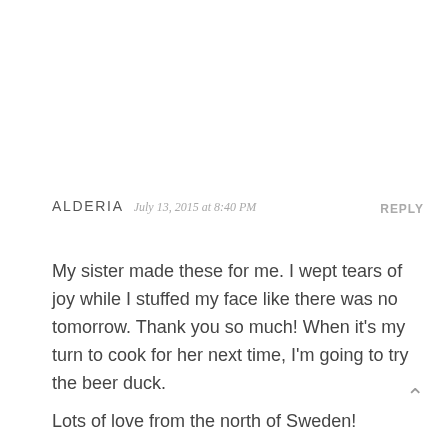ALDERIA  July 13, 2015 at 8:40 PM    REPLY
My sister made these for me. I wept tears of joy while I stuffed my face like there was no tomorrow. Thank you so much! When it's my turn to cook for her next time, I'm going to try the beer duck.
Lots of love from the north of Sweden!